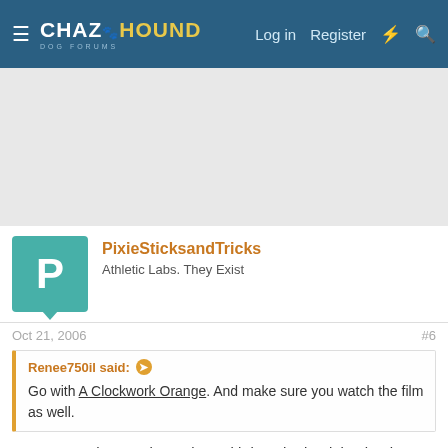CHAZ HOUND DOG FORUMS — Log in  Register
[Figure (other): Advertisement banner area (gray placeholder)]
PixieSticksandTricks
Athletic Labs. They Exist
Oct 21, 2006   #6
Renee750il said:
Go with A Clockwork Orange. And make sure you watch the film as well.
I agree. You have to be patient with it at the begining but its